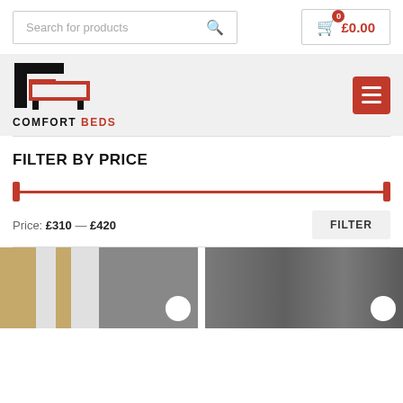Search for products
£0.00
[Figure (logo): Comfort Beds logo with stylized bed icon in black and red]
FILTER BY PRICE
Price: £310 — £420
[Figure (photo): Two product thumbnails: left shows a bed with golden/light frame, right shows a bed with dark grey upholstered headboard]